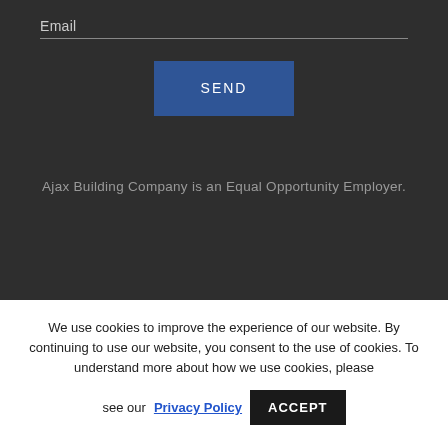Email
[Figure (screenshot): SEND button — dark blue rectangle with white text 'SEND' in letter-spaced caps]
Ajax Building Company is an Equal Opportunity Employer.
We use cookies to improve the experience of our website. By continuing to use our website, you consent to the use of cookies. To understand more about how we use cookies, please see our Privacy Policy
[Figure (screenshot): ACCEPT button — black rectangle with white text 'ACCEPT']